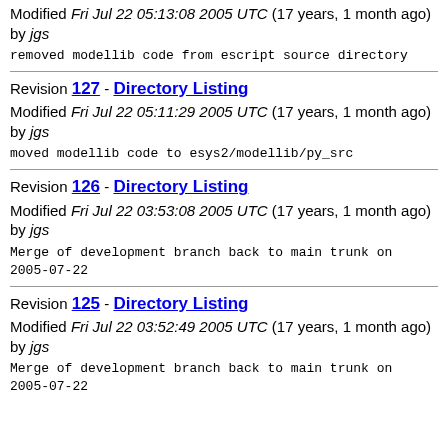Modified Fri Jul 22 05:13:08 2005 UTC (17 years, 1 month ago) by jgs
removed modellib code from escript source directory
Revision 127 - Directory Listing
Modified Fri Jul 22 05:11:29 2005 UTC (17 years, 1 month ago) by jgs
moved modellib code to esys2/modellib/py_src
Revision 126 - Directory Listing
Modified Fri Jul 22 03:53:08 2005 UTC (17 years, 1 month ago) by jgs
Merge of development branch back to main trunk on 2005-07-22
Revision 125 - Directory Listing
Modified Fri Jul 22 03:52:49 2005 UTC (17 years, 1 month ago) by jgs
Merge of development branch back to main trunk on 2005-07-22